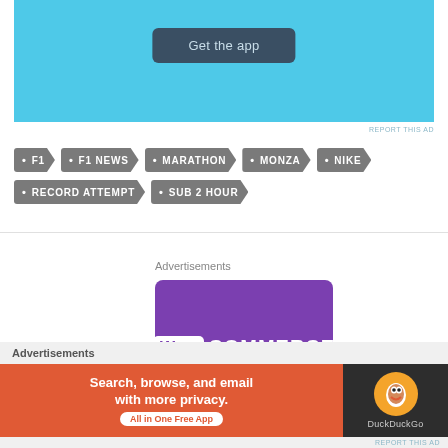[Figure (screenshot): Blue app promotion banner with 'Get the app' button]
REPORT THIS AD
• F1  • F1 NEWS  • MARATHON  • MONZA  • NIKE  • RECORD ATTEMPT  • SUB 2 HOUR
[Figure (screenshot): WooCommerce advertisement banner on purple background]
Advertisements
[Figure (screenshot): DuckDuckGo advertisement: Search, browse, and email with more privacy. All in One Free App]
Advertisements
REPORT THIS AD